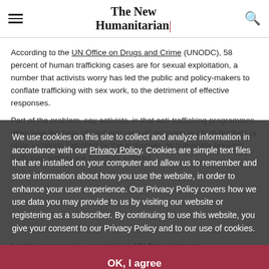The New Humanitarian
According to the UN Office on Drugs and Crime (UNODC), 58 percent of human trafficking cases are for sexual exploitation, a number that activists worry has led the public and policy-makers to conflate trafficking with sex work, to the detriment of effective responses.
Part of the problem, say activists, is that anti-trafficking programmes often take the form of "raid and rescue" missions in which brothels or other locations identified by the authorities as potentially housing trafficking victims are forcefully entered.
We use cookies on this site to collect and analyze information in accordance with our Privacy Policy. Cookies are simple text files that are installed on your computer and allow us to remember and store information about how you use the website, in order to enhance your user experience. Our Privacy Policy covers how we use data you may provide to us by visiting our website or registering as a subscriber. By continuing to use this website, you give your consent to our Privacy Policy and to our use of cookies.
OK, I agree
These operations can invade privacy and reduce public health health programming, according to UN Development Programme (UNDP)...